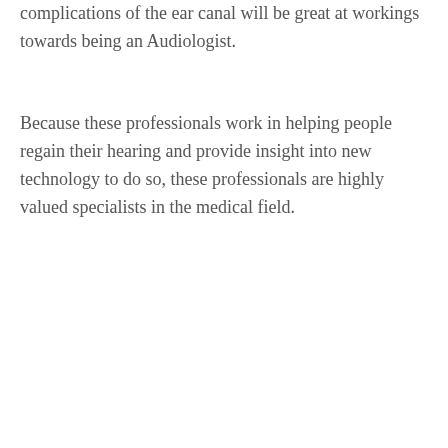complications of the ear canal will be great at workings towards being an Audiologist.
Because these professionals work in helping people regain their hearing and provide insight into new technology to do so, these professionals are highly valued specialists in the medical field.
[Figure (screenshot): Advertisement: 22 Words logo with '37 GENIUS AMAZON PRODUCTS THAT CAN BE USED BY ANYONE' headline, and a Victoria's Secret banner ad with 'SHOP THE COLLECTION' and 'SHOP NOW' button.]